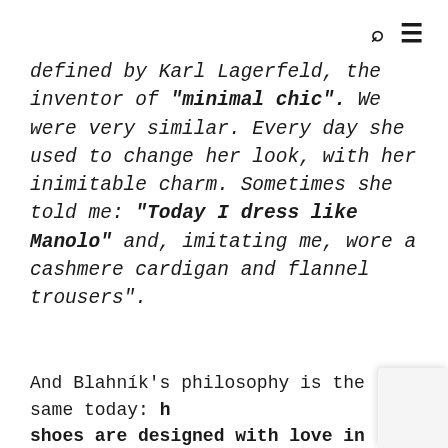🔍 ≡
defined by Karl Lagerfeld, the inventor of "minimal chic". We were very similar. Every day she used to change her look, with her inimitable charm. Sometimes she told me: "Today I dress like Manolo" and, imitating me, wore a cashmere cardigan and flannel trousers".
And Blahník's philosophy is the same today: his shoes are designed with love in London since origin and handmade in Italy near Milan, by